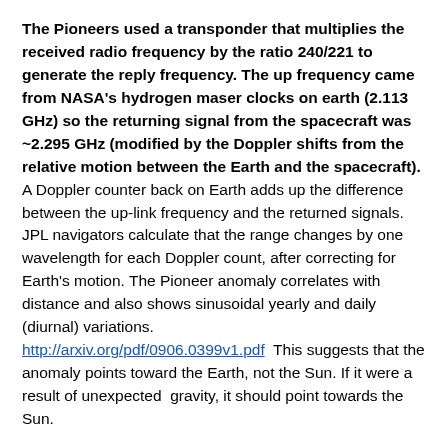The Pioneers used a transponder that multiplies the received radio frequency by the ratio 240/221 to generate the reply frequency. The up frequency came from NASA's hydrogen maser clocks on earth (2.113 GHz) so the returning signal from the spacecraft was ~2.295 GHz (modified by the Doppler shifts from the relative motion between the Earth and the spacecraft). A Doppler counter back on Earth adds up the difference between the up-link frequency and the returned signals. JPL navigators calculate that the range changes by one wavelength for each Doppler count, after correcting for Earth's motion. The Pioneer anomaly correlates with distance and also shows sinusoidal yearly and daily (diurnal) variations. http://arxiv.org/pdf/0906.0399v1.pdf  This suggests that the anomaly points toward the Earth, not the Sun. If it were a result of unexpected  gravity, it should point towards the Sun.
Scientists have proposed numerous explanations for the